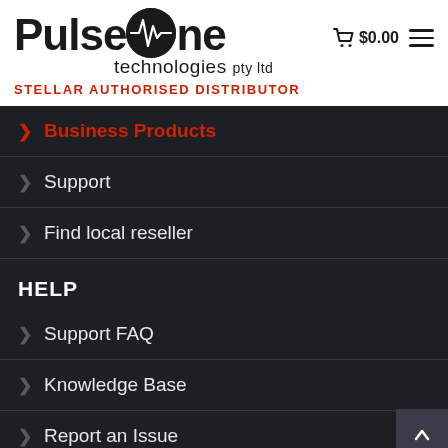[Figure (logo): PulseOne Technologies Pty Ltd logo with waveform icon in circle]
$0.00
STELLAR AUTHORISED DISTRIBUTOR
Business Products
Support
Find local reseller
HELP
Support FAQ
Knowledge Base
Report an Issue